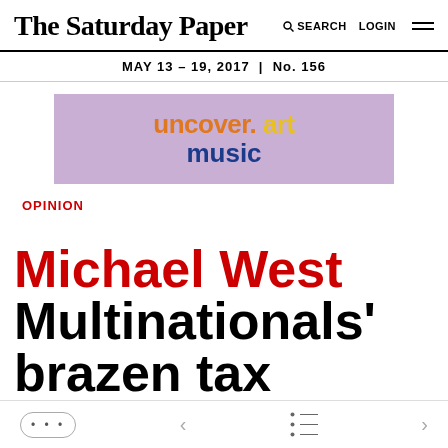The Saturday Paper  SEARCH  LOGIN
MAY 13 – 19, 2017 | No. 156
[Figure (illustration): Advertisement banner with purple background reading 'uncover. art music' in orange, yellow and dark blue bold text]
OPINION
Michael West Multinationals' brazen tax
... < ≡ >